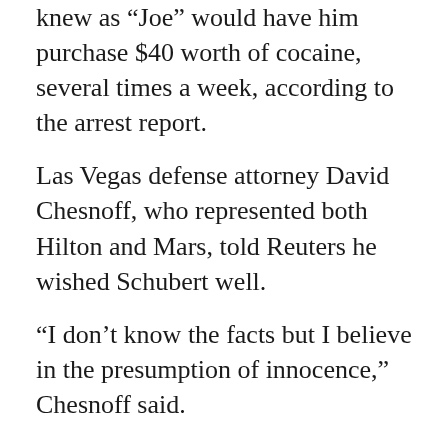knew as “Joe” would have him purchase $40 worth of cocaine, several times a week, according to the arrest report.
Las Vegas defense attorney David Chesnoff, who represented both Hilton and Mars, told Reuters he wished Schubert well.
“I don’t know the facts but I believe in the presumption of innocence,” Chesnoff said.
Hilton, 30, was arrested last August after Las Vegas police found 0.8 grams of cocaine in her purse during a traffic stop. She was fined $2,000 and ordered to perform 200 hours of community service after pleading guilty in September